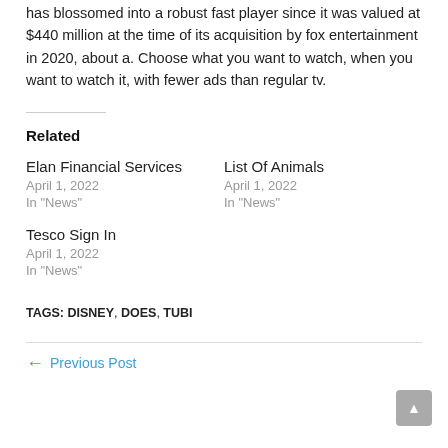has blossomed into a robust fast player since it was valued at $440 million at the time of its acquisition by fox entertainment in 2020, about a. Choose what you want to watch, when you want to watch it, with fewer ads than regular tv.
Related
Elan Financial Services
April 1, 2022
In "News"
List Of Animals
April 1, 2022
In "News"
Tesco Sign In
April 1, 2022
In "News"
TAGS: DISNEY, DOES, TUBI
Previous Post